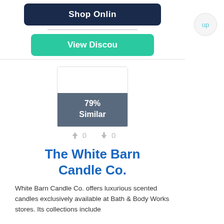[Figure (screenshot): Shop Online button (dark navy blue, rounded rectangle)]
[Figure (screenshot): View Discount button (green/teal, rounded rectangle)]
[Figure (infographic): Similarity score box showing 79% Similar with grey bottom half]
0  0
The White Barn Candle Co.
White Barn Candle Co. offers luxurious scented candles exclusively available at Bath & Body Works stores. Its collections include